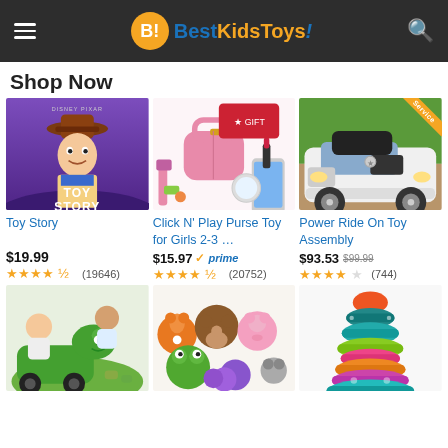BestKidsToys!
Shop Now
[Figure (screenshot): Toy Story movie product image]
Toy Story
$19.99 ★★★★½ (19646)
[Figure (screenshot): Click N Play Purse Toy for Girls pink handbag set]
Click N' Play Purse Toy for Girls 2-3 …
$15.97 ✓prime (20752)
[Figure (screenshot): Power Ride On Toy white Mercedes car with Service ribbon]
Power Ride On Toy Assembly
$93.53 $99.99 (744)
[Figure (photo): Children playing with dinosaur toy set]
[Figure (photo): Colorful stuffed animal characters]
[Figure (photo): Colorful stacking rings toy]